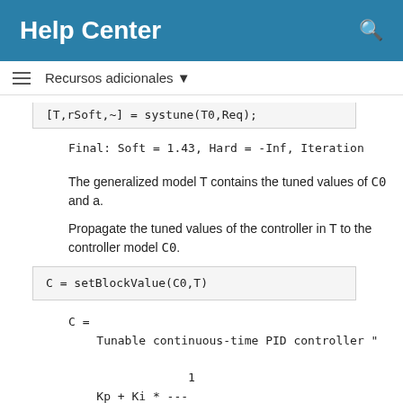Help Center
Recursos adicionales ▼
[T,rSoft,~] = systune(T0,Req);
Final: Soft = 1.43, Hard = -Inf, Iteration
The generalized model T contains the tuned values of C0 and a.
Propagate the tuned values of the controller in T to the controller model C0.
C = setBlockValue(C0,T)
C =
    Tunable continuous-time PID controller "

                1
    Kp + Ki * ---
                s

    and tunable parameters Kp, Ki,